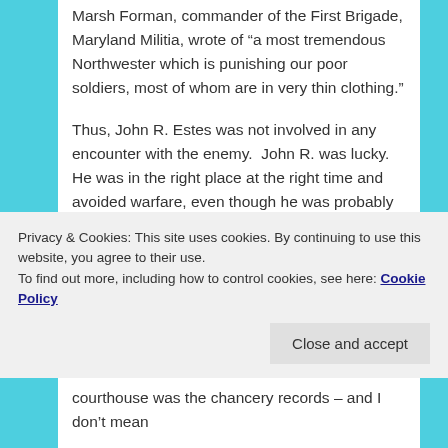Marsh Forman, commander of the First Brigade, Maryland Militia, wrote of “a most tremendous Northwester which is punishing our poor soldiers, most of whom are in very thin clothing.”
Thus, John R. Estes was not involved in any encounter with the enemy.  John R. was lucky.  He was in the right place at the right time and avoided warfare, even though he was probably waterlogged.  In years to follow, because he did serve, he would obtain two land grants and a pension for his service of $8 a month.  That pension probably made a big difference in his quality of life.
Privacy & Cookies: This site uses cookies. By continuing to use this website, you agree to their use.
To find out more, including how to control cookies, see here: Cookie Policy
courthouse was the chancery records – and I don’t mean